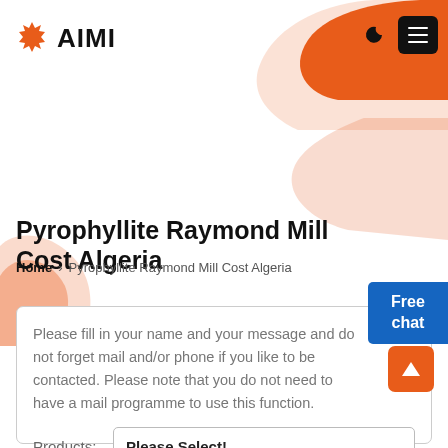AIMI
Pyrophyllite Raymond Mill Cost Algeria
Home > Pyrophyllite Raymond Mill Cost Algeria
Please fill in your name and your message and do not forget mail and/or phone if you like to be contacted. Please note that you do not need to have a mail programme to use this function.
Products: Please Select!